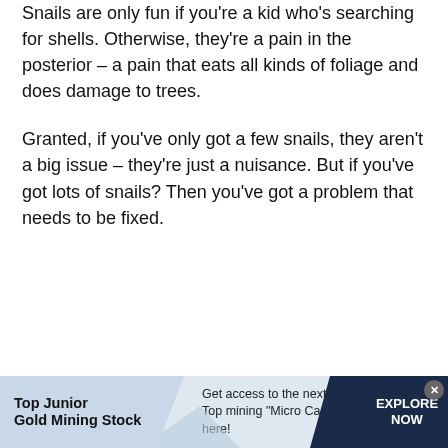Snails are only fun if you're a kid who's searching for shells. Otherwise, they're a pain in the posterior – a pain that eats all kinds of foliage and does damage to trees.
Granted, if you've only got a few snails, they aren't a big issue – they're just a nuisance. But if you've got lots of snails? Then you've got a problem that needs to be fixed.
[Figure (other): Advertisement banner for Top Junior Gold Mining Stock. Left section with bold text 'Top Junior Gold Mining Stock', middle section with text 'Get access to the next Top mining "Micro Cap" here!', right dark section with 'EXPLORE NOW'. Close button (x) in top right corner.]